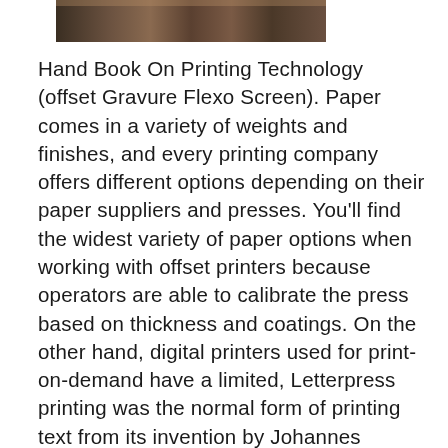[Figure (photo): Partial photo strip at the top of the page showing what appears to be printing equipment or related imagery in dark brown/sepia tones.]
Hand Book On Printing Technology (offset Gravure Flexo Screen). Paper comes in a variety of weights and finishes, and every printing company offers different options depending on their paper suppliers and presses. You'll find the widest variety of paper options when working with offset printers because operators are able to calibrate the press based on thickness and coatings. On the other hand, digital printers used for print-on-demand have a limited, Letterpress printing was the normal form of printing text from its invention by Johannes Gutenberg in the mid-15th century and remained in wide use for books and other uses until the second half of the 20th century, when